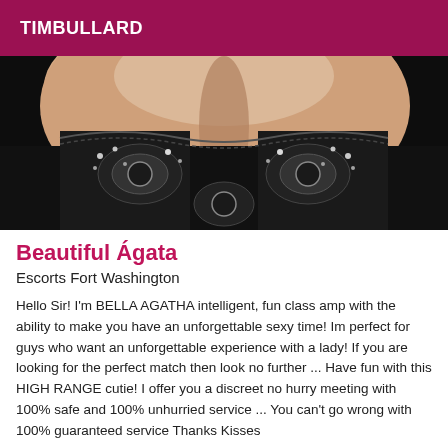TIMBULLARD
[Figure (photo): Close-up photo of a woman's chest wearing a black lace bra/lingerie top with decorative embellishments and rhinestones.]
Beautiful Ágata
Escorts Fort Washington
Hello Sir! I'm BELLA AGATHA intelligent, fun class amp with the ability to make you have an unforgettable sexy time! Im perfect for guys who want an unforgettable experience with a lady! If you are looking for the perfect match then look no further ... Have fun with this HIGH RANGE cutie! I offer you a discreet no hurry meeting with 100% safe and 100% unhurried service ... You can't go wrong with 100% guaranteed service Thanks Kisses